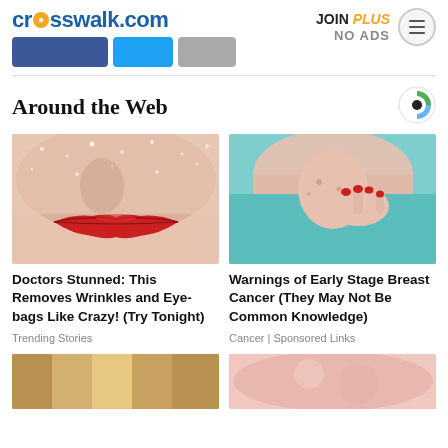crosswalk.com | JOIN PLUS NO ADS
Around the Web
[Figure (photo): Close-up of a woman's face showing skin texture with red lipstick]
Doctors Stunned: This Removes Wrinkles and Eye-bags Like Crazy! (Try Tonight)
Trending Stories
[Figure (photo): Woman in teal shirt scratching her chest/neck area with red nails]
Warnings of Early Stage Breast Cancer (They May Not Be Common Knowledge)
Cancer | Sponsored Links
[Figure (photo): Partial bottom image left - golden/metallic texture]
[Figure (photo): Partial bottom image right - skin tone close-up]